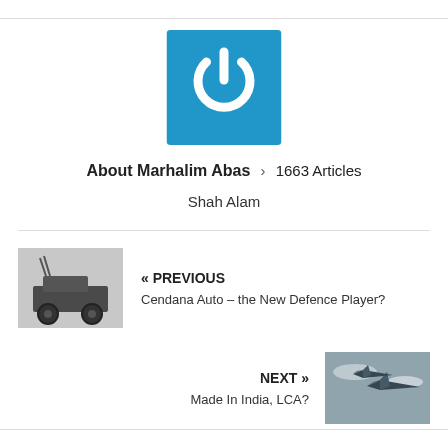[Figure (logo): Blue square logo with white power button icon]
About Marhalim Abas > 1663 Articles
Shah Alam
[Figure (photo): Military vehicle / armored truck thumbnail]
« PREVIOUS
Cendana Auto – the New Defence Player?
NEXT »
Made In India, LCA?
[Figure (photo): Fighter jets in flight thumbnail]